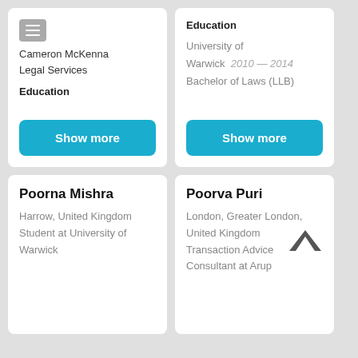Cameron McKenna Legal Services
Education
Show more
Education
University of Warwick  2010 — 2014  Bachelor of Laws (LLB)
Show more
Poorna Mishra
Harrow, United Kingdom
Student at University of Warwick
Poorva Puri
London, Greater London, United Kingdom
Transaction Advice Consultant at Arup